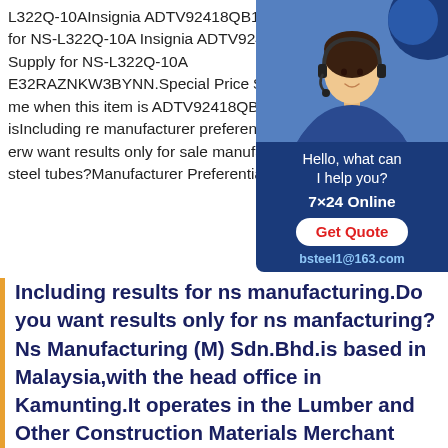L322Q-10AInsignia ADTV92418QB1 Power Supply for NS-L322Q-10A Insignia ADTV92418QB1 Power Supply for NS-L322Q-10A E32RAZNKW3BYNN.Special Price $92.95 .Email me when this item is ADTV92418QB1; This item isIncluding re manufacturer preferential supply mnv erw want results only for sale manufacturer p erw steel tubes?Manufacturer Preferential Stpy 400
[Figure (other): Chat widget with customer service representative photo, Hello what can I help you? text, 7x24 Online, Get Quote button, bsteel1@163.com email]
Including results for ns manufacturing.Do you want results only for ns manfacturing?Ns Manufacturing (M) Sdn.Bhd.is based in Malaysia,with the head office in Kamunting.It operates in the Lumber and Other Construction Materials Merchant Wholesalers sector.The company was established on